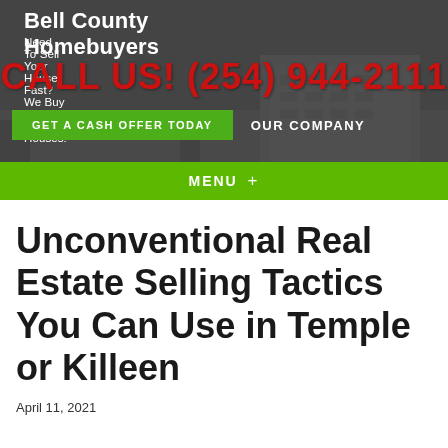Bell County Homebuyers
Need To Sell Your House Fast? We Buy Bell County Houses!
CALL US! (254) 944-2111
GET A CASH OFFER TODAY
OUR COMPANY
MENU +
Unconventional Real Estate Selling Tactics You Can Use in Temple or Killeen
April 11, 2021